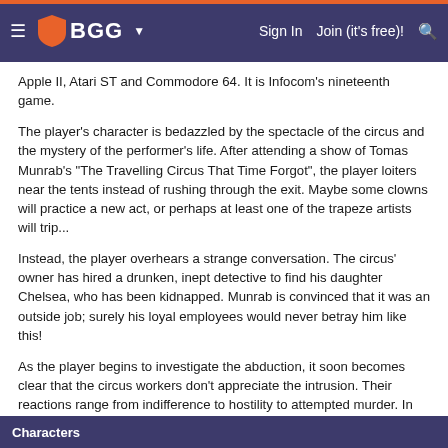BGG — Sign In  Join (it's free)!
Apple II, Atari ST and Commodore 64. It is Infocom's nineteenth game.
The player's character is bedazzled by the spectacle of the circus and the mystery of the performer's life. After attending a show of Tomas Munrab's "The Travelling Circus That Time Forgot", the player loiters near the tents instead of rushing through the exit. Maybe some clowns will practice a new act, or perhaps at least one of the trapeze artists will trip...
Instead, the player overhears a strange conversation. The circus' owner has hired a drunken, inept detective to find his daughter Chelsea, who has been kidnapped. Munrab is convinced that it was an outside job; surely his loyal employees would never betray him like this!
As the player begins to investigate the abduction, it soon becomes clear that the circus workers don't appreciate the intrusion. Their reactions range from indifference to hostility to attempted murder. In order to unravel the mystery, the player engages in a series of actions straight out of a circus fan's dream: dressing up as a clown, walking the high wire, and taming lions.
Characters